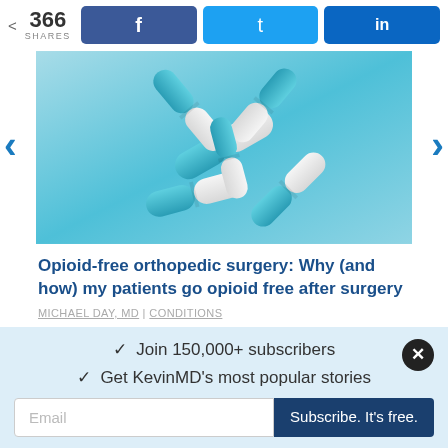366 SHARES
[Figure (photo): Teal and white capsule pills tumbling against a light blue background]
Opioid-free orthopedic surgery: Why (and how) my patients go opioid free after surgery
MICHAEL DAY, MD | CONDITIONS
✓  Join 150,000+ subscribers
✓  Get KevinMD's most popular stories
Email | Subscribe. It's free.